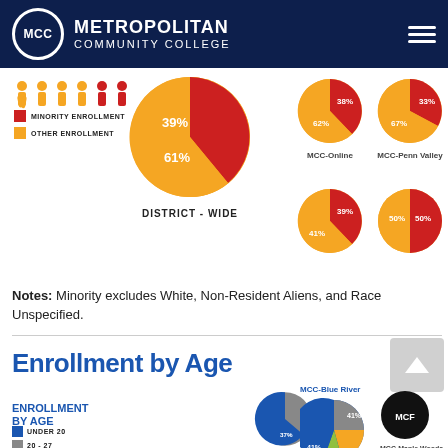MCC Metropolitan Community College
[Figure (pie-chart): DISTRICT - WIDE]
[Figure (pie-chart): MCC-Online]
[Figure (pie-chart): MCC-Penn Valley]
[Figure (pie-chart): MCC-Longview]
[Figure (pie-chart): ]
Notes: Minority excludes White, Non-Resident Aliens, and Race Unspecified.
Enrollment by Age
[Figure (pie-chart): ENROLLMENT BY AGE]
[Figure (pie-chart): MCC-Blue River]
MCC-Longview
MCC-Maple Woods